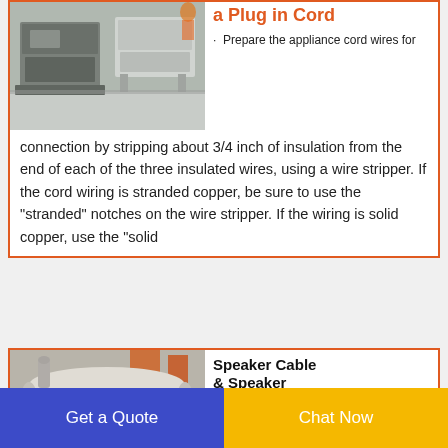[Figure (photo): Industrial machinery — wire stripping or cable processing equipment in a factory setting, two machines visible]
a Plug in Cord
· Prepare the appliance cord wires for connection by stripping about 3/4 inch of insulation from the end of each of the three insulated wires, using a wire stripper. If the cord wiring is stranded copper, be sure to use the "stranded" notches on the wire stripper. If the wiring is solid copper, use the "solid
[Figure (photo): Industrial drum or cylinder machine, white/grey colored, in a factory or warehouse]
Speaker Cable & Speaker WireBest Buy
AudioQuestSLiP
Get a Quote
Chat Now